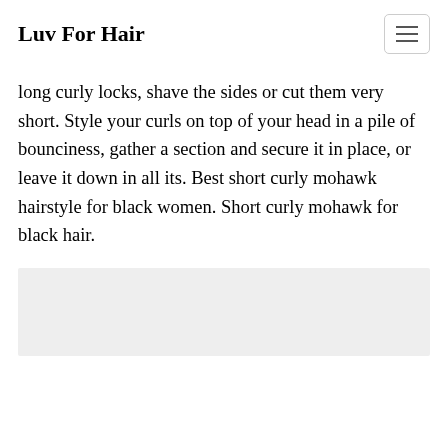Luv For Hair
long curly locks, shave the sides or cut them very short. Style your curls on top of your head in a pile of bounciness, gather a section and secure it in place, or leave it down in all its. Best short curly mohawk hairstyle for black women. Short curly mohawk for black hair.
[Figure (photo): Gray placeholder image area at the bottom of the page]